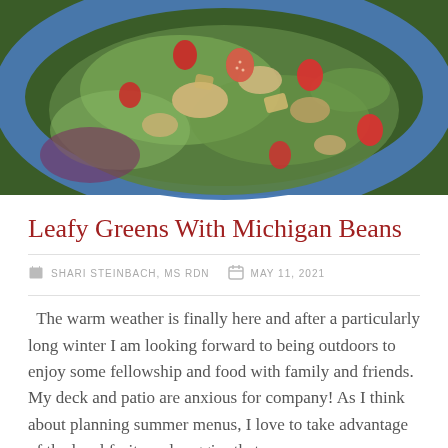[Figure (photo): A close-up overhead photo of a salad with leafy greens, strawberries, tomatoes, beans, and other toppings on a blue plate]
Leafy Greens With Michigan Beans
SHARI STEINBACH, MS RDN   MAY 11, 2021
The warm weather is finally here and after a particularly long winter I am looking forward to being outdoors to enjoy some fellowship and food with family and friends. My deck and patio are anxious for company! As I think about planning summer menus, I love to take advantage of the local fruits and veggies that